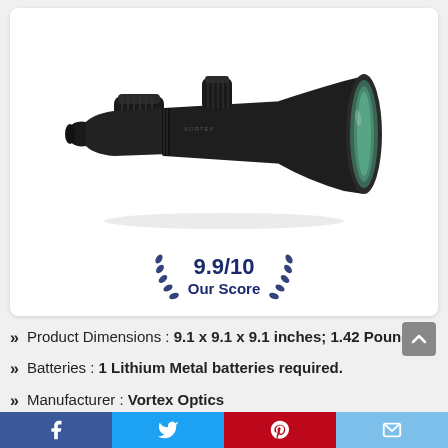[Figure (photo): A black rifle scope (Vortex Optics brand) shown at an angle on a white background, with green-tinted objective lens visible on the right end.]
9.9/10 Our Score
Product Dimensions : 9.1 x 9.1 x 9.1 inches; 1.42 Pounds
Batteries : 1 Lithium Metal batteries required.
Manufacturer : Vortex Optics